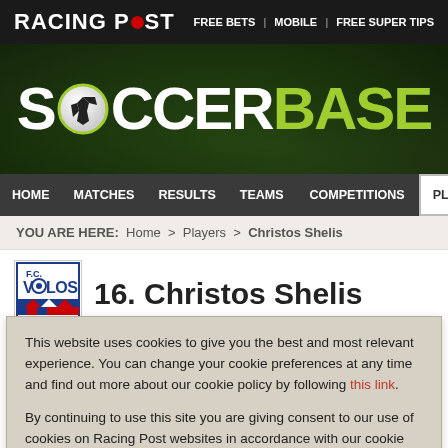RACING POST | FREE BETS | MOBILE | FREE SUPER TIPS
[Figure (logo): Soccerbase logo with soccer ball graphic on dark green stadium background]
HOME | MATCHES | RESULTS | TEAMS | COMPETITIONS | PLAYERS
YOU ARE HERE: Home > Players > Christos Shelis
16. Christos Shelis
This website uses cookies to give you the best and most relevant experience. You can change your cookie preferences at any time and find out more about our cookie policy by following this link.

By continuing to use this site you are giving consent to our use of cookies on Racing Post websites in accordance with our cookie policy.
Close